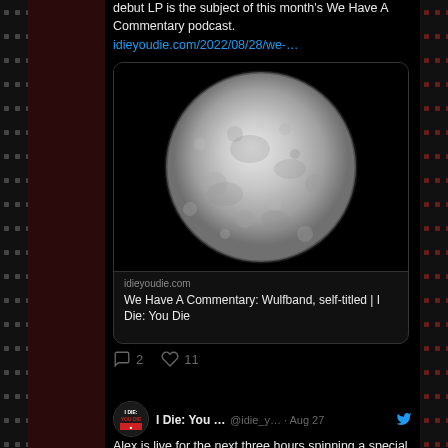debut LP is the subject of this month's We Have A Commentary podcast. idieyoudie.com/2022/08/28/we-…
[Figure (photo): Full moon photograph embedded in a Twitter link card for idieyoudie.com article titled 'We Have A Commentary: Wulfband, self-titled | I Die: You Die']
2  11
I Die: You … @idie_y… · Aug 27 — Alex is live for the next three hours spinning a special 3x3 stream of darkwave, industrial and EBM artists, all music released in 2022